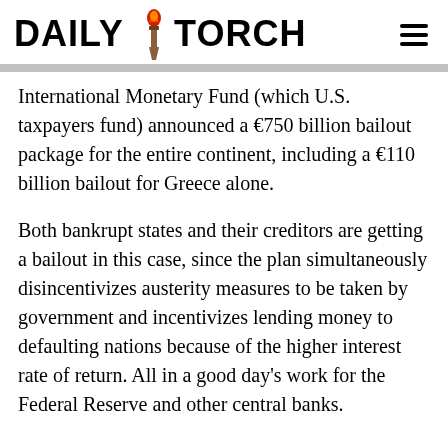DAILY TORCH
International Monetary Fund (which U.S. taxpayers fund) announced a €750 billion bailout package for the entire continent, including a €110 billion bailout for Greece alone.
Both bankrupt states and their creditors are getting a bailout in this case, since the plan simultaneously disincentivizes austerity measures to be taken by government and incentivizes lending money to defaulting nations because of the higher interest rate of return. All in a good day's work for the Federal Reserve and other central banks.